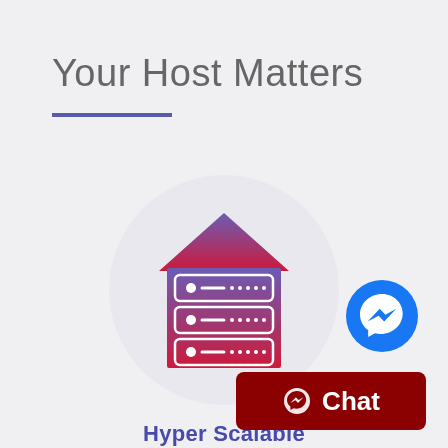Your Host Matters
[Figure (illustration): Server rack inside a house/home icon with purple-to-red gradient, inside a light gray circle]
Hyper Scalable
[Figure (logo): Facebook Messenger blue circle logo]
[Figure (other): Dark red Chat button with messenger icon]